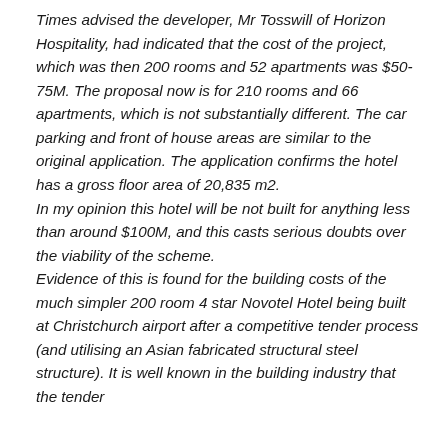Times advised the developer, Mr Tosswill of Horizon Hospitality, had indicated that the cost of the project, which was then 200 rooms and 52 apartments was $50-75M. The proposal now is for 210 rooms and 66 apartments, which is not substantially different. The car parking and front of house areas are similar to the original application. The application confirms the hotel has a gross floor area of 20,835 m2. In my opinion this hotel will be not built for anything less than around $100M, and this casts serious doubts over the viability of the scheme. Evidence of this is found for the building costs of the much simpler 200 room 4 star Novotel Hotel being built at Christchurch airport after a competitive tender process (and utilising an Asian fabricated structural steel structure). It is well known in the building industry that the tender